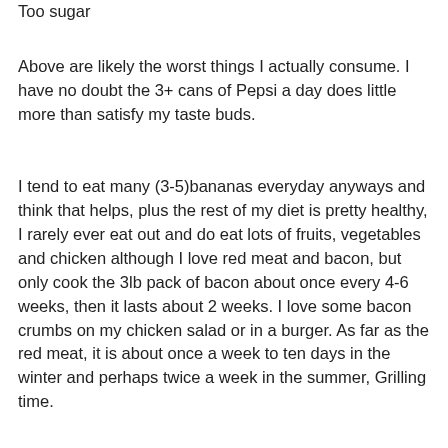Too sugar
Above are likely the worst things I actually consume. I have no doubt the 3+ cans of Pepsi a day does little more than satisfy my taste buds.
I tend to eat many (3-5)bananas everyday anyways and think that helps, plus the rest of my diet is pretty healthy, I rarely ever eat out and do eat lots of fruits, vegetables and chicken although I love red meat and bacon, but only cook the 3lb pack of bacon about once every 4-6 weeks, then it lasts about 2 weeks. I love some bacon crumbs on my chicken salad or in a burger. As far as the red meat, it is about once a week to ten days in the winter and perhaps twice a week in the summer, Grilling time.